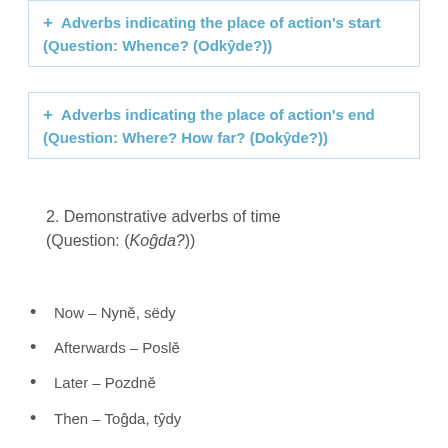Adverbs indicating the place of action's start (Question: Whence? (Odkyde?))
Adverbs indicating the place of action's end (Question: Where? How far? (Dokyde?))
2. Demonstrative adverbs of time (Question: (Koĝda?))
Now – Nyně, sëdy
Afterwards – Poslě
Later – Pozdně
Then – Toĝda, tŷdy
Once – Jednaďy
Sometimes – Něĝda, nědy
Ever – Hotiôda, hotidy